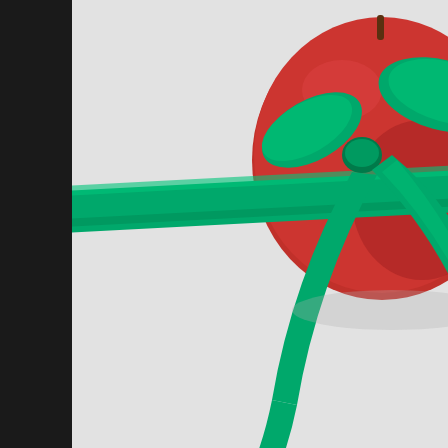[Figure (photo): A red apple with a green ribbon bow tied around it, photographed against a light grey/white background. The image is cropped showing the upper right portion of the apple with the green grosgrain ribbon prominently displayed.]
My favourite subject to photograph is Still Life [ which I'm pretty sure I've had several days of rainy/windy weather which kept me indoors. I'd bough apples with an image idea in mind, as well as looking forward to eating th
Privacy & Cookies: This site uses cookies. By continuing to use this website, you agree to their use.
To find out more, including how to control cookies, see here: Cookie Policy
Close and accept
and ate of the fruit of the Tree of knowledge of good and evil. But in the